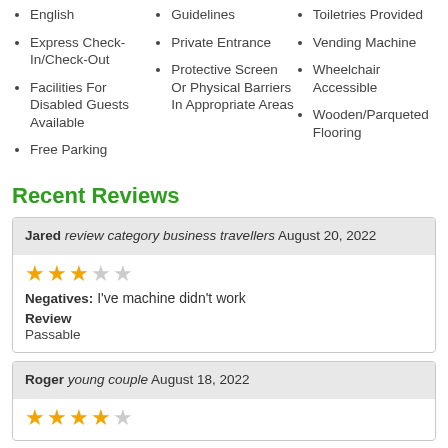English
Express Check-In/Check-Out
Facilities For Disabled Guests Available
Free Parking
Guidelines
Private Entrance
Protective Screen Or Physical Barriers In Appropriate Areas
Toiletries Provided
Vending Machine
Wheelchair Accessible
Wooden/Parqueted Flooring
Recent Reviews
Jared review category business travellers August 20, 2022
Negatives: I've machine didn't work
Review
Passable
Roger young couple August 18, 2022